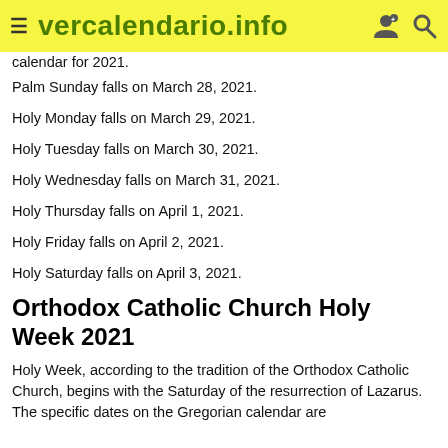vercalendario.info
calendar for 2021.
Palm Sunday falls on March 28, 2021.
Holy Monday falls on March 29, 2021.
Holy Tuesday falls on March 30, 2021.
Holy Wednesday falls on March 31, 2021.
Holy Thursday falls on April 1, 2021.
Holy Friday falls on April 2, 2021.
Holy Saturday falls on April 3, 2021.
Orthodox Catholic Church Holy Week 2021
Holy Week, according to the tradition of the Orthodox Catholic Church, begins with the Saturday of the resurrection of Lazarus. The specific dates on the Gregorian calendar are [cut off]